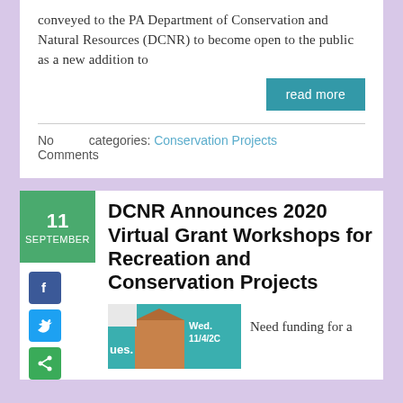conveyed to the PA Department of Conservation and Natural Resources (DCNR) to become open to the public as a new addition to
read more
No Comments    categories: Conservation Projects
DCNR Announces 2020 Virtual Grant Workshops for Recreation and Conservation Projects
Need funding for a